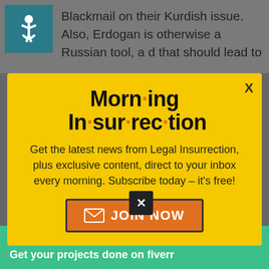Blackmail on their Kurdish issue. Also, Erdogan is otherwise a Russian tool, a d that should lead to
[Figure (screenshot): Morning Insurrection newsletter popup on yellow background with JOIN NOW button]
including using the Sea of Marmara the Russian Military top
[Figure (infographic): Fiverr green banner advertisement: Working from home? Get your projects done on fiverr]